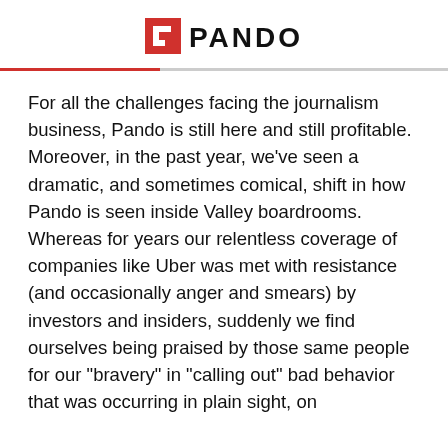PANDO
For all the challenges facing the journalism business, Pando is still here and still profitable. Moreover, in the past year, we’ve seen a dramatic, and sometimes comical, shift in how Pando is seen inside Valley boardrooms. Whereas for years our relentless coverage of companies like Uber was met with resistance (and occasionally anger and smears) by investors and insiders, suddenly we find ourselves being praised by those same people for our “bravery” in “calling out” bad behavior that was occurring in plain sight, on